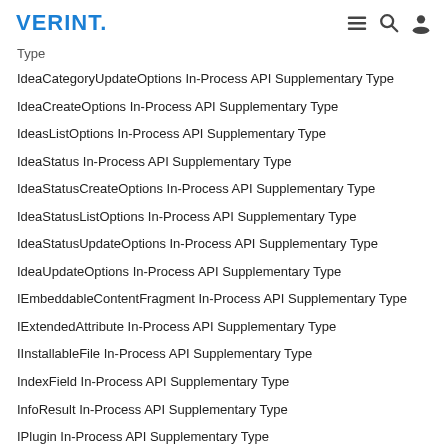VERINT.
Type
IdeaCategoryUpdateOptions In-Process API Supplementary Type
IdeaCreateOptions In-Process API Supplementary Type
IdeasListOptions In-Process API Supplementary Type
IdeaStatus In-Process API Supplementary Type
IdeaStatusCreateOptions In-Process API Supplementary Type
IdeaStatusListOptions In-Process API Supplementary Type
IdeaStatusUpdateOptions In-Process API Supplementary Type
IdeaUpdateOptions In-Process API Supplementary Type
IEmbeddableContentFragment In-Process API Supplementary Type
IExtendedAttribute In-Process API Supplementary Type
IInstallableFile In-Process API Supplementary Type
IndexField In-Process API Supplementary Type
InfoResult In-Process API Supplementary Type
IPlugin In-Process API Supplementary Type
IRenderedEmbeddableContentFragment In-Process API